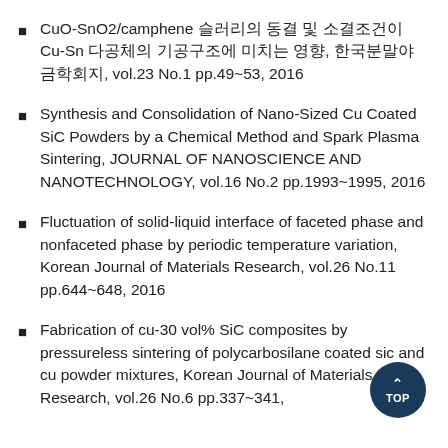CuO-SnO2/camphene 슬러리의 동결 및 소결조건이 Cu-Sn 다공체의 기공구조에 미치는 영향, 한국분말야금학회지, vol.23 No.1 pp.49~53, 2016
Synthesis and Consolidation of Nano-Sized Cu Coated SiC Powders by a Chemical Method and Spark Plasma Sintering, JOURNAL OF NANOSCIENCE AND NANOTECHNOLOGY, vol.16 No.2 pp.1993~1995, 2016
Fluctuation of solid-liquid interface of faceted phase and nonfaceted phase by periodic temperature variation, Korean Journal of Materials Research, vol.26 No.11 pp.644~648, 2016
Fabrication of cu-30 vol% SiC composites by pressureless sintering of polycarbosilane coated sic and cu powder mixtures, Korean Journal of Materials Research, vol.26 No.6 pp.337~341,